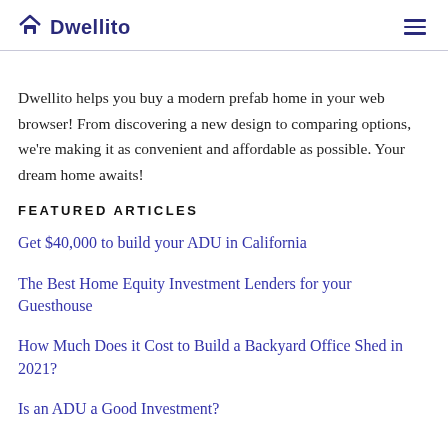Dwellito
Dwellito helps you buy a modern prefab home in your web browser! From discovering a new design to comparing options, we're making it as convenient and affordable as possible. Your dream home awaits!
FEATURED ARTICLES
Get $40,000 to build your ADU in California
The Best Home Equity Investment Lenders for your Guesthouse
How Much Does it Cost to Build a Backyard Office Shed in 2021?
Is an ADU a Good Investment?